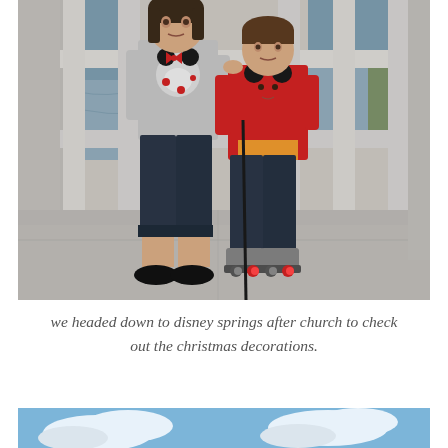[Figure (photo): Two children standing in front of a railing/fence with water visible in the background. The taller child on the left wears a gray Minnie Mouse shirt and dark capri jeans with black flat shoes. The shorter child on the right wears a red Mickey Mouse shirt and dark jeans with rollerblade/roller skate shoes.]
we headed down to disney springs after church to check out the christmas decorations.
[Figure (photo): Partial photo showing blue sky with white clouds, bottom portion of another image.]